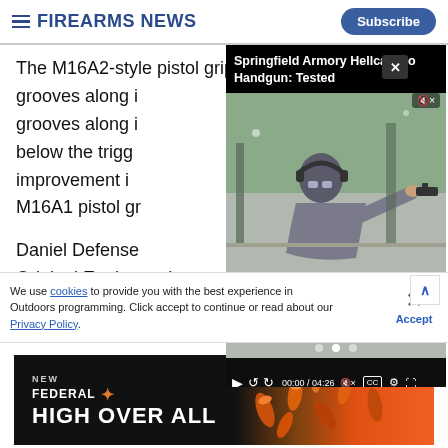Firearms News
The M16A2-style pistol grip has deep longitudinal grooves along i... below the trigg... improvement i... M16A1 pistol gr...
[Figure (screenshot): Video overlay: Springfield Armory Hellcat Pro Handgun: Tested. Video player showing a man shooting a pistol at a range. Controls show 00:00 / 04:26.]
Daniel Defense... Original Equipment) buttstock on their V1 series
We use cookies to provide you with the best experience in Outdoors programming. Click accept to continue or read about our Privacy Policy.
[Figure (photo): Federal High Over All advertisement with orange shells on dark background]
Advertisement